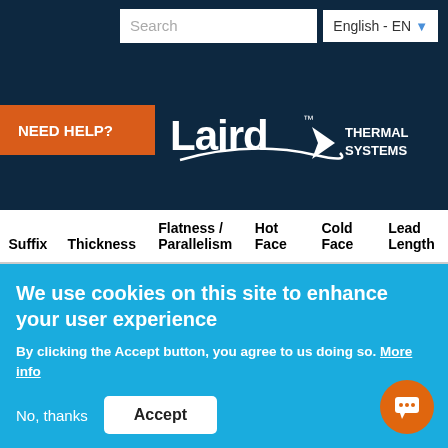[Figure (screenshot): Laird Thermal Systems website header with search bar, English language selector, Need Help button, and Laird Thermal Systems logo on dark navy background with hamburger menu icon]
| Suffix | Thickness | Flatness / Parallelism | Hot Face | Cold Face | Lead Length |
| --- | --- | --- | --- | --- | --- |
| TA | 4.572 ±0.254 mm 0.180 ± | 0.025 mm / 0.025 mm 0.001 in / | Lapped | Lapped | 152.4 mm 6.00 in |
We use cookies on this site to enhance your user experience
By clicking the Accept button, you agree to us doing so. More info
No, thanks
Accept